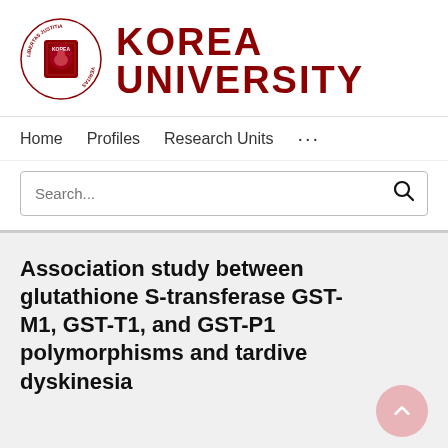[Figure (logo): Korea University logo with circular seal on the left and KOREA UNIVERSITY text in dark red on the right]
Home   Profiles   Research Units   ...
Search...
Association study between glutathione S-transferase GST-M1, GST-T1, and GST-P1 polymorphisms and tardive dyskinesia